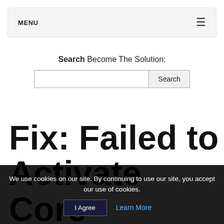MENU ≡
Search Become The Solution:
Search input and button
Fix: Failed to Activate Core
We use cookies on our site. By continuing to use our site, you accept our use of cookies.